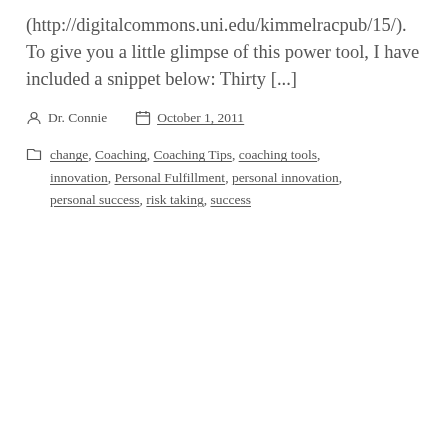(http://digitalcommons.uni.edu/kimmelracpub/15/).  To give you a little glimpse of this power tool, I have included a snippet below: Thirty [...]
Dr. Connie    October 1, 2011
change, Coaching, Coaching Tips, coaching tools, innovation, Personal Fulfillment, personal innovation, personal success, risk taking, success